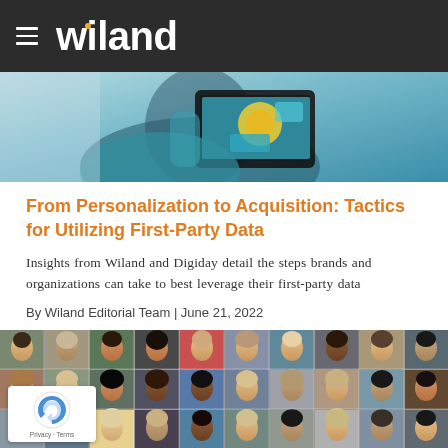Wiland
[Figure (photo): Person holding a tablet showing colorful digital content with teal and yellow/gold elements]
From Personalization to Acquisition: Tactics for Utilizing First-Party Data
Insights from Wiland and Digiday detail the steps brands and organizations can take to best leverage their first-party data
By Wiland Editorial Team | June 21, 2022
[Figure (photo): Grid mosaic of diverse people's faces/portraits arranged in rows and columns]